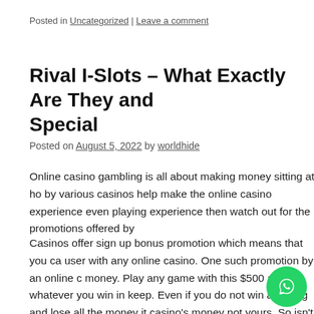Posted in Uncategorized | Leave a comment
Rival I-Slots – What Exactly Are They and Special
Posted on August 5, 2022 by worldhide
Online casino gambling is all about making money sitting at ho... by various casinos help make the online casino experience even... playing experience then watch out for the promotions offered by...
Casinos offer sign up bonus promotion which means that you ca... user with any online casino. One such promotion by an online c... money. Play any game with this $500 and whatever you win in... keep. Even if you do not win anything and lose all the money it... casino's money not yours. So isn't this a promotion not to be mi... promotion is that you can claim the sign up bonus of t... dob... $20 with the casino.